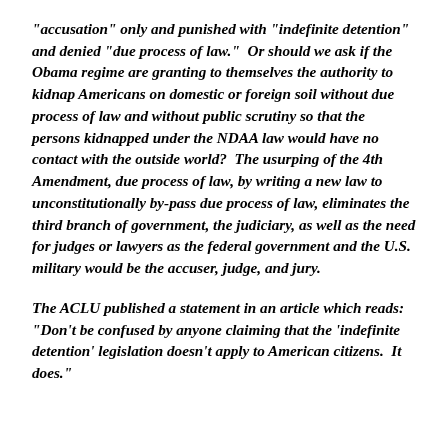“accusation” only and punished with “indefinite detention” and denied “due process of law.”  Or should we ask if the Obama regime are granting to themselves the authority to kidnap Americans on domestic or foreign soil without due process of law and without public scrutiny so that the persons kidnapped under the NDAA law would have no contact with the outside world?  The usurping of the 4th Amendment, due process of law, by writing a new law to unconstitutionally by-pass due process of law, eliminates the third branch of government, the judiciary, as well as the need for judges or lawyers as the federal government and the U.S. military would be the accuser, judge, and jury.
The ACLU published a statement in an article which reads: “Don’t be confused by anyone claiming that the ‘indefinite detention’ legislation doesn’t apply to American citizens.  It does.”